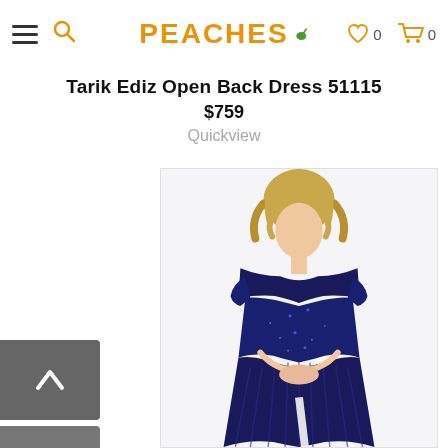PEACHES — navigation header with hamburger menu, search icon, heart (0), cart (0)
Tarik Ediz Open Back Dress 51115
$759
Quickview
[Figure (photo): Woman modeling a navy blue off-shoulder sequined/pleated formal gown with a slit, standing against a white background]
Filter